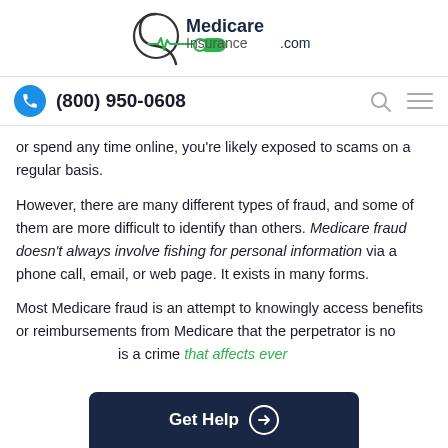MedicareInsurance.com
(800) 950-0608
or spend any time online, you're likely exposed to scams on a regular basis.
However, there are many different types of fraud, and some of them are more difficult to identify than others. Medicare fraud doesn't always involve fishing for personal information via a phone call, email, or web page. It exists in many forms.
Most Medicare fraud is an attempt to knowingly access benefits or reimbursements from Medicare that the perpetrator is no [cut off] is a crime that affects ever[cut off] the perpetrators